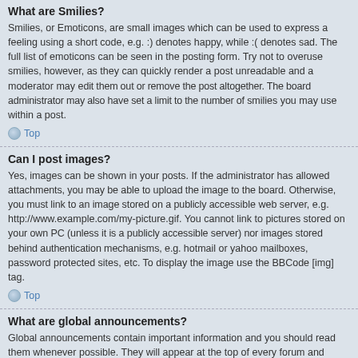What are Smilies?
Smilies, or Emoticons, are small images which can be used to express a feeling using a short code, e.g. :) denotes happy, while :( denotes sad. The full list of emoticons can be seen in the posting form. Try not to overuse smilies, however, as they can quickly render a post unreadable and a moderator may edit them out or remove the post altogether. The board administrator may also have set a limit to the number of smilies you may use within a post.
Top
Can I post images?
Yes, images can be shown in your posts. If the administrator has allowed attachments, you may be able to upload the image to the board. Otherwise, you must link to an image stored on a publicly accessible web server, e.g. http://www.example.com/my-picture.gif. You cannot link to pictures stored on your own PC (unless it is a publicly accessible server) nor images stored behind authentication mechanisms, e.g. hotmail or yahoo mailboxes, password protected sites, etc. To display the image use the BBCode [img] tag.
Top
What are global announcements?
Global announcements contain important information and you should read them whenever possible. They will appear at the top of every forum and within your User Control Panel. Global announcement permissions are granted by the board administrator.
Top
What are announcements?
Announcements often contain important information for the forum you are currently reading and you should read them whenever possible. Announcements appear at the top of every page in the forum to which they are posted. As with global announcements, announcement permissions are granted by the board administrator.
Top